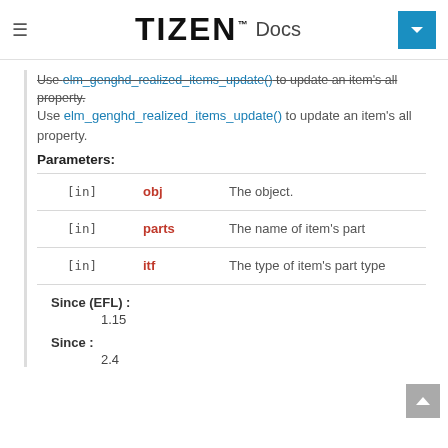TIZEN Docs
Use elm_gengnid_realized_items_update() to update an item's all property.
Parameters:
|  | Name | Description |
| --- | --- | --- |
| [in] | obj | The object. |
| [in] | parts | The name of item's part |
| [in] | itf | The type of item's part type |
Since (EFL) :
1.15
Since :
2.4